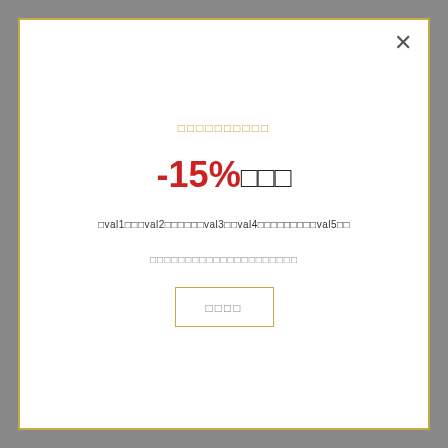× (close button)
□□□□□□□□□□ (subtitle in golden text)
-15%□□□
□val1□□□val2□□□□□□□val3□□val4□□□□□□□□□□val5□□
□□□□□□□□□□□□□□□□□□□□□
□□□□ (button)